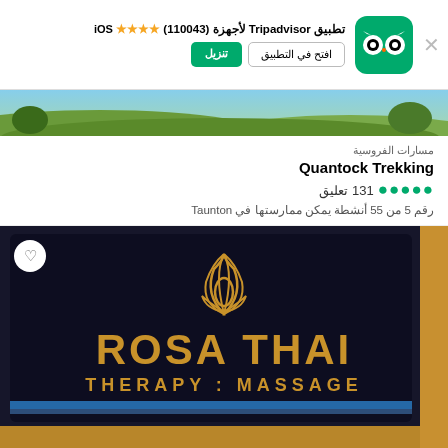تطبيق Tripadvisor لأجهزة (110043) ★★★★ iOS
افتح في التطبيق  |  تنزيل
[Figure (screenshot): Tripadvisor owl logo on green background]
[Figure (photo): Horse riding trail landscape, green grass]
مسارات الفروسية
Quantock Trekking
●●●●● 131 تعليق
رقم 5 من 55 أنشطة يمكن ممارستها في Taunton
[Figure (photo): Rosa Thai Therapy Massage illuminated sign on dark background with gold letters]